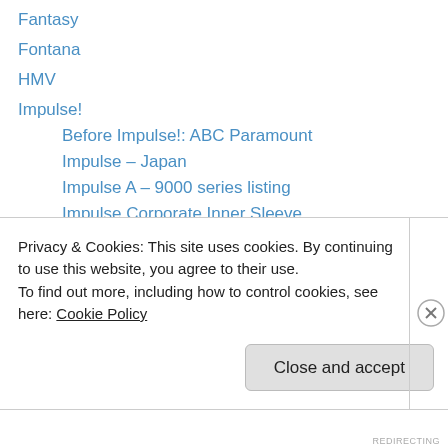Fantasy
Fontana
HMV
Impulse!
Before Impulse!: ABC Paramount
Impulse – Japan
Impulse A – 9000 series listing
Impulse Corporate Inner Sleeve
Impulse in Europe
Impulse: Coltrane on UK HMV
Impulse Promotional Pack 1970
Impulse US labels overview
Impulse! Complete 1st Label Reference Set: Stereo (1961-78)
Privacy & Cookies: This site uses cookies. By continuing to use this website, you agree to their use.
To find out more, including how to control cookies, see here: Cookie Policy
REDIRECTING